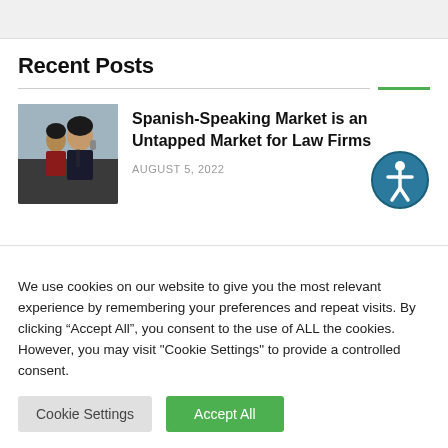Recent Posts
[Figure (photo): Two businesswomen in dark suits, one talking on a phone, professional setting]
Spanish-Speaking Market is an Untapped Market for Law Firms
AUGUST 5, 2022
[Figure (illustration): Accessibility icon - circular blue badge with person symbol]
We use cookies on our website to give you the most relevant experience by remembering your preferences and repeat visits. By clicking “Accept All”, you consent to the use of ALL the cookies. However, you may visit "Cookie Settings" to provide a controlled consent.
Cookie Settings
Accept All